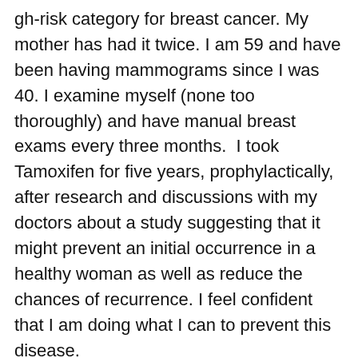gh-risk category for breast cancer. My mother has had it twice. I am 59 and have been having mammograms since I was 40. I examine myself (none too thoroughly) and have manual breast exams every three months.  I took Tamoxifen for five years, prophylactically, after research and discussions with my doctors about a study suggesting that it might prevent an initial occurrence in a healthy woman as well as reduce the chances of recurrence. I feel confident that I am doing what I can to prevent this disease.
The new mammogram guidelines must be confusing to many women. I fall into an unambiguous category, so will continue to have one every year. I am not in a position to evaluate the new guidelines, but I hope what I have written will resonate for many of us.